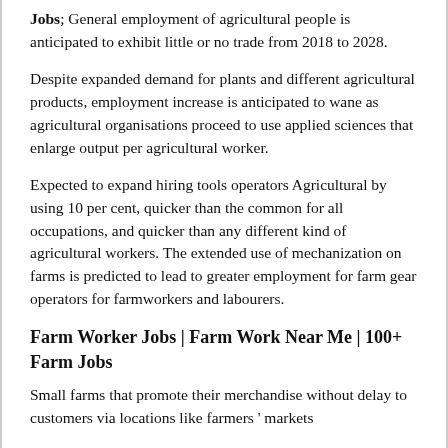Jobs; General employment of agricultural people is anticipated to exhibit little or no trade from 2018 to 2028.
Despite expanded demand for plants and different agricultural products, employment increase is anticipated to wane as agricultural organisations proceed to use applied sciences that enlarge output per agricultural worker.
Expected to expand hiring tools operators Agricultural by using 10 per cent, quicker than the common for all occupations, and quicker than any different kind of agricultural workers. The extended use of mechanization on farms is predicted to lead to greater employment for farm gear operators for farmworkers and labourers.
Farm Worker Jobs | Farm Work Near Me | 100+ Farm Jobs
Small farms that promote their merchandise without delay to customers via locations like farmers ' markets